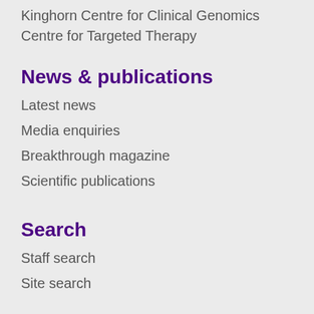Kinghorn Centre for Clinical Genomics
Centre for Targeted Therapy
News & publications
Latest news
Media enquiries
Breakthrough magazine
Scientific publications
Search
Staff search
Site search
Business development & innovation